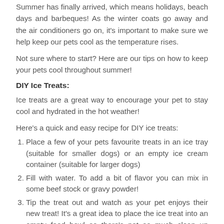Summer has finally arrived, which means holidays, beach days and barbeques! As the winter coats go away and the air conditioners go on, it's important to make sure we help keep our pets cool as the temperature rises.
Not sure where to start? Here are our tips on how to keep your pets cool throughout summer!
DIY Ice Treats:
Ice treats are a great way to encourage your pet to stay cool and hydrated in the hot weather!
Here's a quick and easy recipe for DIY ice treats:
Place a few of your pets favourite treats in an ice tray (suitable for smaller dogs) or an empty ice cream container (suitable for larger dogs)
Fill with water. To add a bit of flavor you can mix in some beef stock or gravy powder!
Tip the treat out and watch as your pet enjoys their new treat! It's a great idea to place the ice treat into an empty food bowl so there's not as much clean up afterwards!